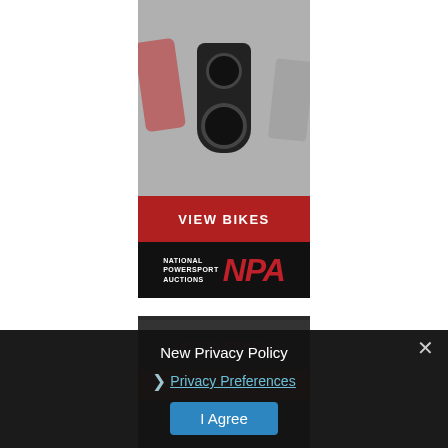[Figure (photo): Black and white photo of motorcycles lined up, center motorcycle prominently visible from above, red motorcycle partially visible on left]
VIEW BIKES
[Figure (logo): National Powersport Auctions NPA logo — white text 'NATIONAL POWERSPORT AUCTIONS' beside large red italic letters 'NPA' on black background]
[Figure (photo): Partially visible second advertisement for Powersports event with red accent text 'ACCELERATE' and 'NOVEMBER' dates on dark background]
New Privacy Policy
Privacy Preferences
I Agree